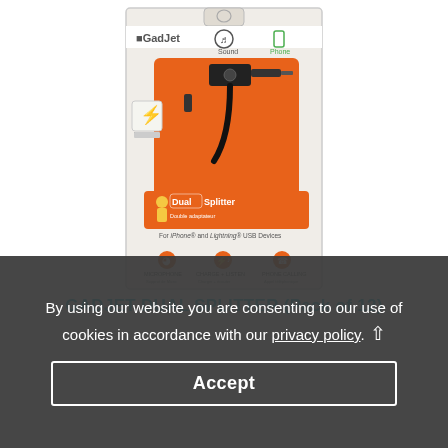[Figure (photo): Product photo of GadJet Dual Splitter for iPhone and Lightning USB devices, showing the packaging with the black cable adapter, and icons for Sound, Phone, Power, Microphone, Charge+Listen, Phone Calling features. The package has an orange and white design with 'Dual Splitter' branding.]
GADJET DUAL SPLITTER (Pack of 12)
By using our website you are consenting to our use of cookies in accordance with our privacy policy. Accept